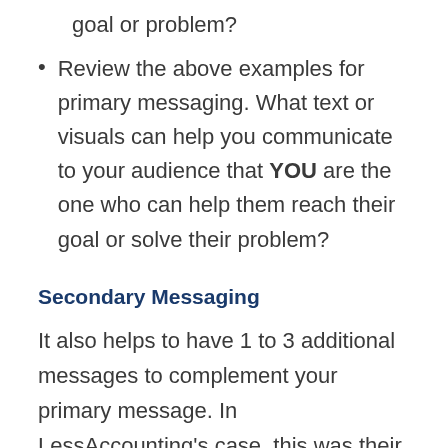goal or problem?
Review the above examples for primary messaging. What text or visuals can help you communicate to your audience that YOU are the one who can help them reach their goal or solve their problem?
Secondary Messaging
It also helps to have 1 to 3 additional messages to complement your primary message. In LessAccounting's case, this was their appeal to accountants. For Basecamp,